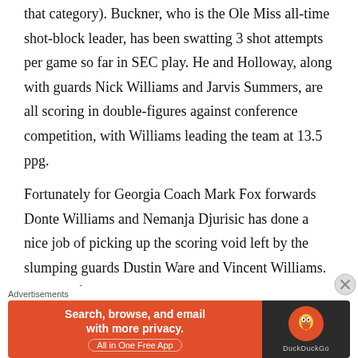that category).  Buckner, who is the Ole Miss all-time shot-block leader,  has been swatting 3 shot attempts per game so far in SEC play.  He and Holloway, along with guards Nick Williams and Jarvis Summers, are all scoring in double-figures against conference competition, with Williams leading the team at 13.5 ppg.
Fortunately for Georgia Coach Mark Fox forwards Donte Williams and Nemanja Djurisic has done a nice job of picking up the scoring void left by the slumping guards Dustin Ware and Vincent Williams.  Through four SEC games, Ware and Williams are netting only
Advertisements
[Figure (other): DuckDuckGo advertisement banner: 'Search, browse, and email with more privacy. All in One Free App' on orange background with DuckDuckGo logo on dark background.]